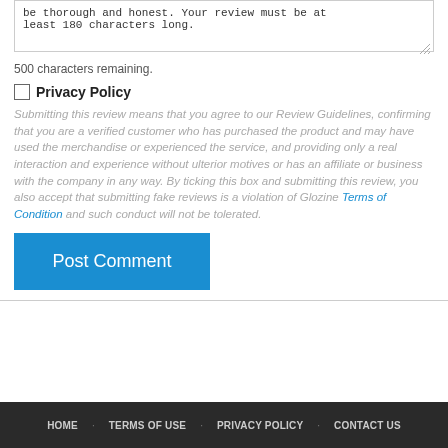be thorough and honest. Your review must be at least 180 characters long.
500 characters remaining.
Privacy Policy
Submitting this review means that you agree to our Review Guidelines, confirming that you are a verified customer who has purchased the product and may have used the merchandise or experienced the service, and providing only a real interaction and experience without ulterior motives or has an affiliate or business with the company in any way. By ticking this box and submitting this review, you also accept that submitting fake reviews is a violation of Glozine Terms of Condition and such conduct will not be tolerated.
Post Comment
HOME · TERMS OF USE · PRIVACY POLICY · CONTACT US